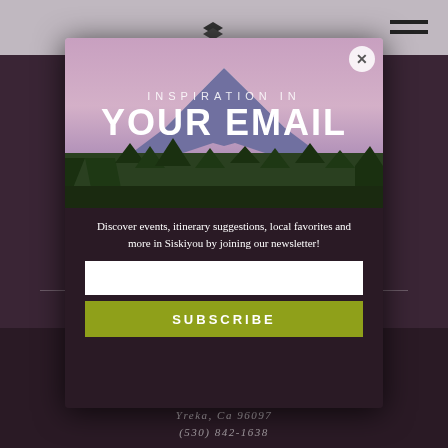[Figure (screenshot): Website background showing a dark maroon/purple page with header area and footer with address text]
[Figure (photo): Modal popup overlay with mountain landscape photo background (purple sky, mountain peak with snow, forested slopes). Contains newsletter signup form.]
INSPIRATION IN
YOUR EMAIL
Discover events, itinerary suggestions, local favorites and more in Siskiyou by joining our newsletter!
SUBSCRIBE
Yreka, Ca 96097
(530) 842-1638